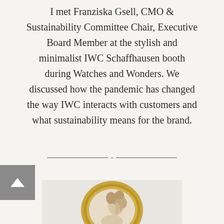I met Franziska Gsell, CMO & Sustainability Committee Chair, Executive Board Member at the stylish and minimalist IWC Schaffhausen booth during Watches and Wonders. We discussed how the pandemic has changed the way IWC interacts with customers and what sustainability means for the brand.
[Figure (illustration): A cameo brooch with a gold oval frame showing a profile portrait of a woman with curly hair, on a light background.]